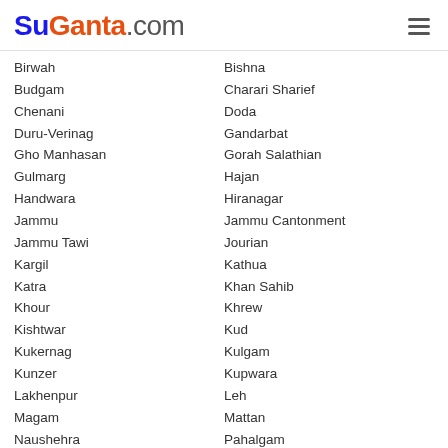SuGanta.com
Birwah
Bishna
Budgam
Charari Sharief
Chenani
Doda
Duru-Verinag
Gandarbat
Gho Manhasan
Gorah Salathian
Gulmarg
Hajan
Handwara
Hiranagar
Jammu
Jammu Cantonment
Jammu Tawi
Jourian
Kargil
Kathua
Katra
Khan Sahib
Khour
Khrew
Kishtwar
Kud
Kukernag
Kulgam
Kunzer
Kupwara
Lakhenpur
Leh
Magam
Mattan
Naushehra
Pahalgam
Rampore
Parole